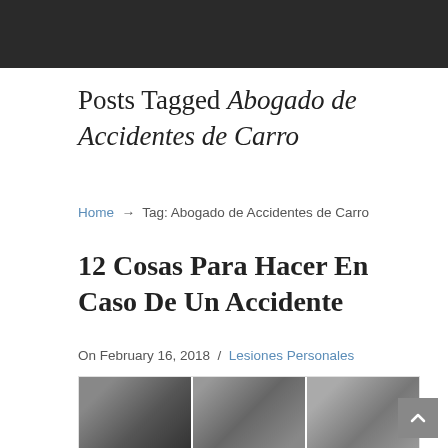[Figure (photo): Dark header photo strip at top of page]
Posts Tagged Abogado de Accidentes de Carro
Home → Tag: Abogado de Accidentes de Carro
12 Cosas Para Hacer En Caso De Un Accidente
On February 16, 2018 / Lesiones Personales
[Figure (photo): Collage of three accident-related photos: crashed car interior, cyclist legs, person lying on ground, and construction equipment]